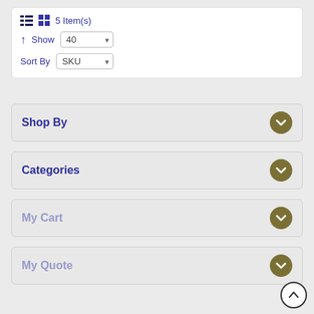5 Item(s)
Show 40
Sort By SKU
Shop By
Categories
My Cart
My Quote